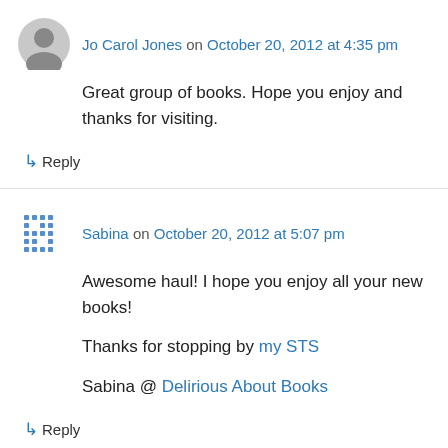Jo Carol Jones on October 20, 2012 at 4:35 pm
Great group of books. Hope you enjoy and thanks for visiting.
↳ Reply
Sabina on October 20, 2012 at 5:07 pm
Awesome haul! I hope you enjoy all your new books!
Thanks for stopping by my STS
Sabina @ Delirious About Books
↳ Reply